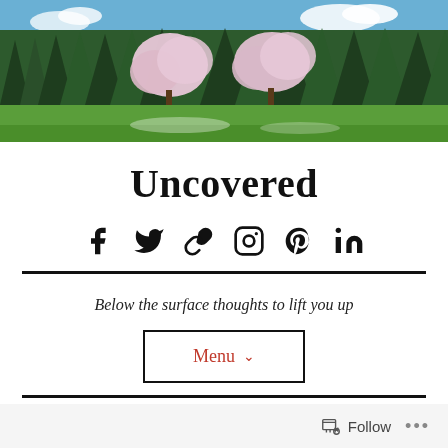[Figure (photo): Landscape photo banner showing cherry blossom trees against a line of dark evergreen trees with a bright blue sky and green field in the foreground]
Uncovered
[Figure (infographic): Row of social media icons: Facebook, Twitter, link/chain, Instagram, Pinterest, LinkedIn]
Below the surface thoughts to lift you up
Menu ∨
Follow ...